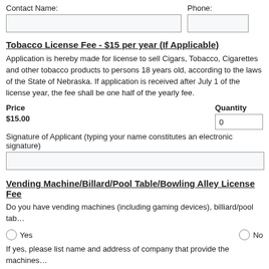Contact Name:
Phone:
Tobacco License Fee - $15 per year (If Applicable)
Application is hereby made for license to sell Cigars, Tobacco, Cigarettes and other tobacco products to persons 18 years old, according to the laws of the State of Nebraska. If application is received after July 1 of the license year, the fee shall be one half of the yearly fee.
Price
Quantity
$15.00
Signature of Applicant (typing your name constitutes an electronic signature)
Vending Machine/Billard/Pool Table/Bowling Alley License Fee
Do you have vending machines (including gaming devices), billiard/pool tables, or bowling alleys?
Yes
No
If yes, please list name and address of company that provide the machines:
Machine Vendor:
Phone Number:
If machines are property of the business, fees apply.